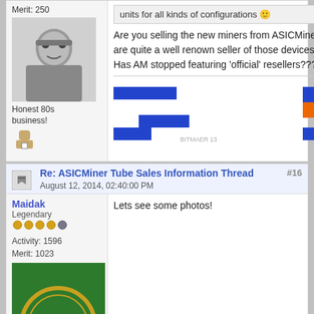Merit: 250
[Figure (photo): Black and white portrait photo of a man]
Honest 80s business!
units for all kinds of configurations 🙂
Are you selling the new miners from ASICMiner? I think you are quite a well renown seller of those devices in the past. Has AM stopped featuring 'official' resellers???
[Figure (other): Pixel art / banner image partially visible]
Maidak
Legendary
Activity: 1596
Merit: 1023
Re: ASICMiner Tube Sales Information Thread
#16
August 12, 2014, 02:40:00 PM
Lets see some photos!
[Figure (photo): Green circular logo with 'RIO' text]
definexo
ADA
staking